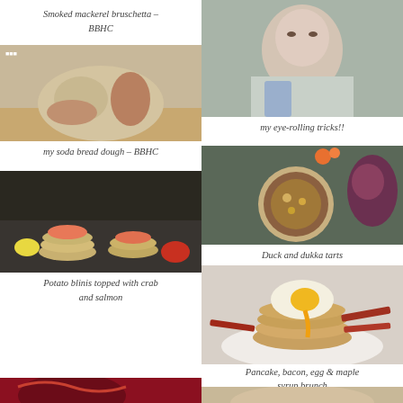Smoked mackerel bruschetta – BBHC
[Figure (photo): Person (partial face visible) in light jacket, close-up portrait]
my eye-rolling tricks!!
[Figure (photo): Hands kneading bread dough on a wooden board, BBC watermark visible]
my soda bread dough – BBHC
[Figure (photo): Duck and dukka tarts on a dark slate surface with salad greens and cherry tomatoes]
Duck and dukka tarts
[Figure (photo): Potato blinis topped with crab and salmon on a dark slate board with lemon and tomatoes]
Potato blinis topped with crab and salmon
[Figure (photo): Stack of pancakes with bacon, fried egg with running yolk and maple syrup on a white plate]
Pancake, bacon, egg & maple syrup brunch
[Figure (photo): Partial image of food item with red/dark background, bottom left]
[Figure (photo): Partial image of food item, bottom right]